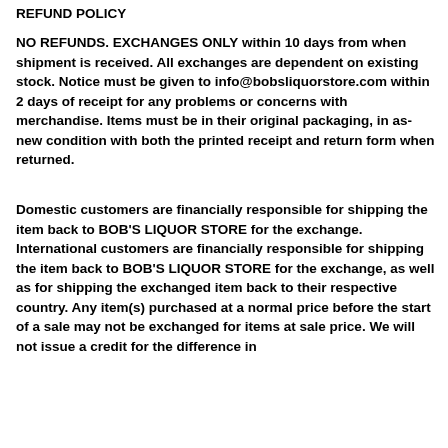REFUND POLICY
NO REFUNDS. EXCHANGES ONLY within 10 days from when shipment is received. All exchanges are dependent on existing stock. Notice must be given to info@bobsliquorstore.com within 2 days of receipt for any problems or concerns with merchandise. Items must be in their original packaging, in as-new condition with both the printed receipt and return form when returned.
Domestic customers are financially responsible for shipping the item back to BOB'S LIQUOR STORE for the exchange. International customers are financially responsible for shipping the item back to BOB'S LIQUOR STORE for the exchange, as well as for shipping the exchanged item back to their respective country. Any item(s) purchased at a normal price before the start of a sale may not be exchanged for items at sale price. We will not issue a credit for the difference in